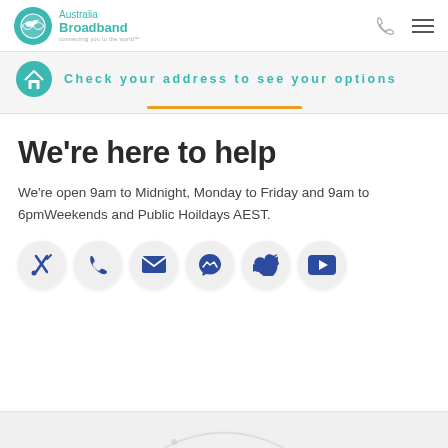Australia Broadband — connecting you to the world
Check your address to see your options
We're here to help
We're open 9am to Midnight, Monday to Friday and 9am to 6pmWeekends and Public Hoildays AEST.
[Figure (infographic): Row of six circular icon buttons: tools/wrench, phone, email, messenger, twitter, youtube — all in dark blue on light grey circles]